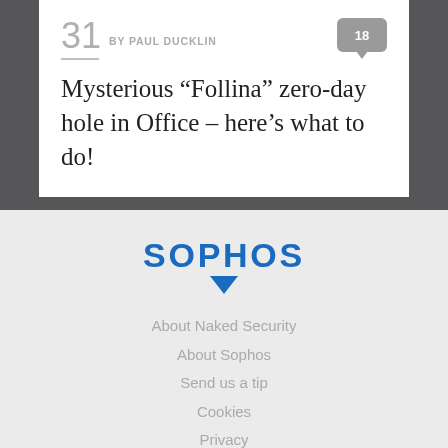31 BY PAUL DUCKLIN  18
Mysterious “Follina” zero-day hole in Office – here’s what to do!
[Figure (logo): Sophos logo in blue with downward arrow beneath]
About Naked Security
About Sophos
Send us a tip
Cookies
Privacy